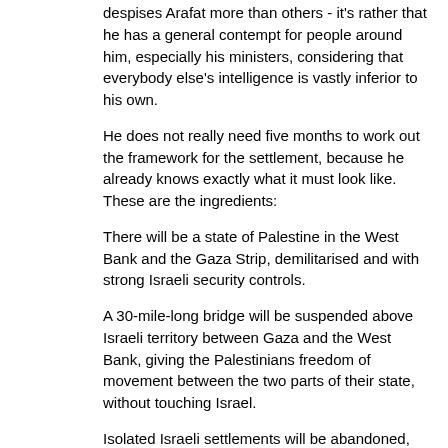despises Arafat more than others - it's rather that he has a general contempt for people around him, especially his ministers, considering that everybody else's intelligence is vastly inferior to his own.
He does not really need five months to work out the framework for the settlement, because he already knows exactly what it must look like. These are the ingredients:
There will be a state of Palestine in the West Bank and the Gaza Strip, demilitarised and with strong Israeli security controls.
A 30-mile-long bridge will be suspended above Israeli territory between Gaza and the West Bank, giving the Palestinians freedom of movement between the two parts of their state, without touching Israel.
Isolated Israeli settlements will be abandoned, but the main settlements, with about 80 per cent of the settler population, will be banded together in several "settlement blocs" and annexed to Israel. The blocs may amount to anything between 15 and 30 per cent of the West Bank and the Gaza Strip (which altogether amount to 22 per cent of the territory of the former British Mandate of Palestine).
Contrary to the official mantra, there will be some compromise on Jerusalem: a Palestinian flag over the holy mosques, and a corridor between them and the Arab suburbs beyond the borders of the annexed city.